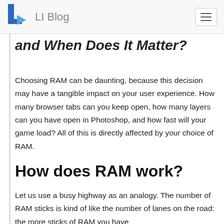LI Blog
and When Does It Matter?
Choosing RAM can be daunting, because this decision may have a tangible impact on your user experience. How many browser tabs can you keep open, how many layers can you have open in Photoshop, and how fast will your game load? All of this is directly affected by your choice of RAM.
How does RAM work?
Let us use a busy highway as an analogy. The number of RAM sticks is kind of like the number of lanes on the road: the more sticks of RAM you have